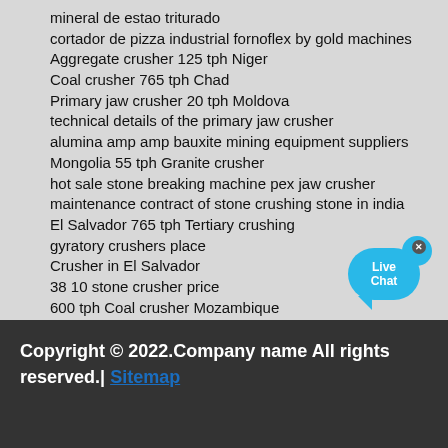mineral de estao triturado
cortador de pizza industrial fornoflex by gold machines
Aggregate crusher 125 tph Niger
Coal crusher 765 tph Chad
Primary jaw crusher 20 tph Moldova
technical details of the primary jaw crusher
alumina amp amp bauxite mining equipment suppliers
Mongolia 55 tph Granite crusher
hot sale stone breaking machine pex jaw crusher
maintenance contract of stone crushing stone in india
El Salvador 765 tph Tertiary crushing
gyratory crushers place
Crusher in El Salvador
38 10 stone crusher price
600 tph Coal crusher Mozambique
lowongan kerja operator mesin grinding
125 tph Sand crusher Estonia
ball grinding quarry
Gambia Quartz crusher 160 tph
[Figure (illustration): Live Chat button with blue speech bubble and close X button]
Copyright © 2022.Company name All rights reserved.| Sitemap